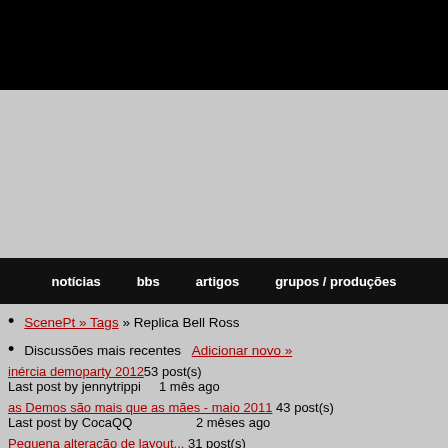[Figure (other): Black header bar area for website logo/banner]
[Figure (other): Gray advertisement area]
notícias   bbs   artigos   grupos / produções
ScenePt » Tags » Replica Bell Ross
Discussões mais recentes   Adicionar novo »
inércia demoparty 2012  53 post(s)  Last post by jennytrippi   1 mês ago
as Demos são mais que as mães - maio 2011  43 post(s)  Last post by CocaQQ   2 mêses ago
Pequena alteração de layout...  31 post(s)  Last post by Deavers4   3 mêses ago
Main 2011 cancelada  37 post(s)  Last post by William7344  9 mêses ago